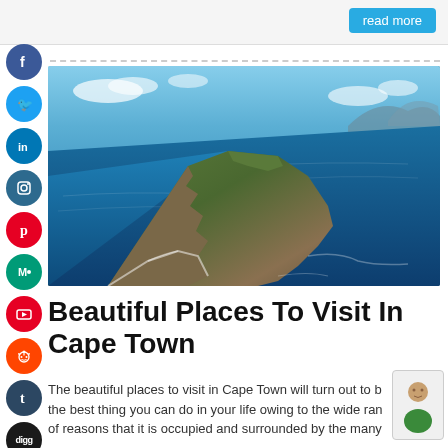read more
[Figure (photo): Aerial view of Cape Point / Cape of Good Hope peninsula with rocky cliffs, green slopes, and blue ocean]
Beautiful Places To Visit In Cape Town
The beautiful places to visit in Cape Town will turn out to be the best thing you can do in your life owing to the wide ran of reasons that it is occupied and surrounded by the many